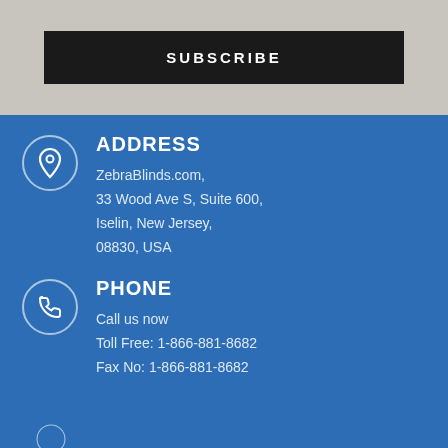SUBSCRIBE
ADDRESS
ZebraBlinds.com,
33 Wood Ave S, Suite 600,
Iselin, New Jersey,
08830, USA
PHONE
Call us now
Toll Free: 1-866-881-8682
Fax No: 1-866-881-8682